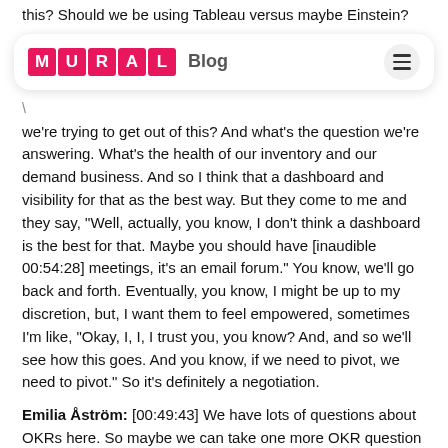this? Should we be using Tableau versus maybe Einstein?
[Figure (logo): MURAL Blog logo with pink letter tiles and hamburger menu icon]
we're trying to get out of this? And what's the question we're answering. What's the health of our inventory and our demand business. And so I think that a dashboard and visibility for that as the best way. But they come to me and they say, "Well, actually, you know, I don't think a dashboard is the best for that. Maybe you should have [inaudible 00:54:28] meetings, it's an email forum." You know, we'll go back and forth. Eventually, you know, I might be up to my discretion, but, I want them to feel empowered, sometimes I'm like, "Okay, I, I, I trust you, you know? And, and so we'll see how this goes. And you know, if we need to pivot, we need to pivot." So it's definitely a negotiation.
Emilia Åström: [00:49:43] We have lots of questions about OKRs here. So maybe we can take one more OKR question